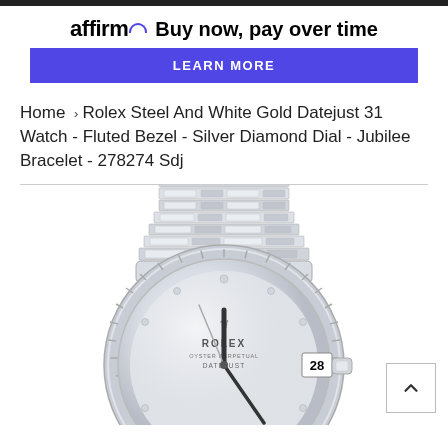[Figure (logo): Affirm logo with arc symbol and tagline 'Buy now, pay over time']
LEARN MORE
Home › Rolex Steel And White Gold Datejust 31 Watch - Fluted Bezel - Silver Diamond Dial - Jubilee Bracelet - 278274 Sdj
[Figure (photo): Rolex Steel And White Gold Datejust 31 watch with silver diamond dial, fluted bezel, and Jubilee bracelet showing date 28]